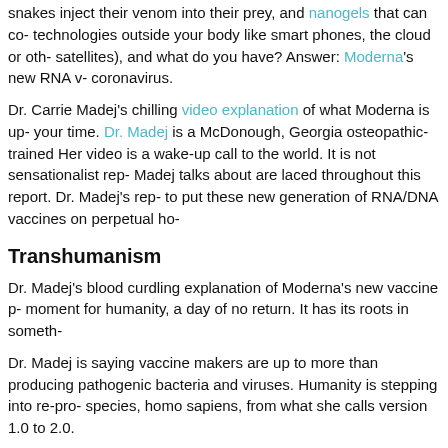snakes inject their venom into their prey, and nanogels that can co- technologies outside your body like smart phones, the cloud or oth- satellites), and what do you have?  Answer: Moderna's new RNA v- coronavirus.
Dr. Carrie Madej's chilling video explanation of what Moderna is up- your time.  Dr. Madej is a McDonough, Georgia osteopathic-trained Her video is a wake-up call to the world.  It is not sensationalist rep- Madej talks about are laced throughout this report.  Dr. Madej's rep- to put these new generation of RNA/DNA vaccines on perpetual ho-
Transhumanism
Dr. Madej's blood curdling explanation of Moderna's new vaccine p- moment for humanity, a day of no return.  It has its roots in someth-
Dr. Madej is saying vaccine makers are up to more than producing pathogenic bacteria and viruses.  Humanity is stepping into re-pro- species, homo sapiens, from what she calls version 1.0 to 2.0.
Let me say it again, Moderna's vaccine is not solely about infectiou- part of something called transhumanism – where technology is me- humans.
Transhumanism gains fear factor when, in the back of many peopl- are they making this COVID-19 vaccine to depopulate the planet?
What to do with 40 million unemployed Americans?